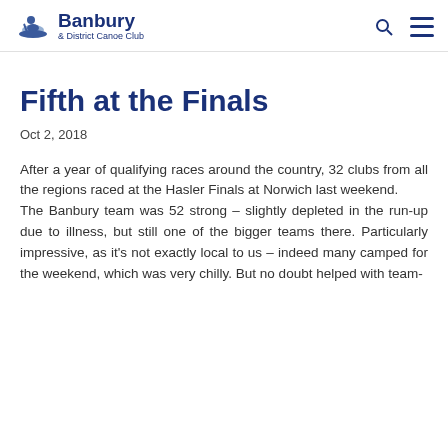Banbury & District Canoe Club
Fifth at the Finals
Oct 2, 2018
After a year of qualifying races around the country, 32 clubs from all the regions raced at the Hasler Finals at Norwich last weekend. The Banbury team was 52 strong – slightly depleted in the run-up due to illness, but still one of the bigger teams there. Particularly impressive, as it's not exactly local to us – indeed many camped for the weekend, which was very chilly. But no doubt helped with team-